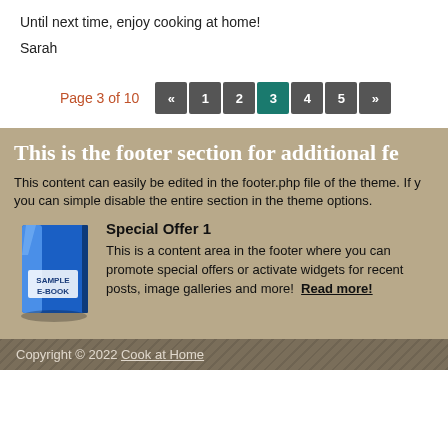Until next time, enjoy cooking at home!
Sarah
Page 3 of 10  « 1 2 3 4 5 »
This is the footer section for additional fe...
This content can easily be edited in the footer.php file of the theme. If you can simple disable the entire section in the theme options.
[Figure (illustration): Blue sample e-book cover illustration]
Special Offer 1
This is a content area in the footer where you can promote special offers or activate widgets for recent posts, image galleries and more! Read more!
Copyright © 2022 Cook at Home